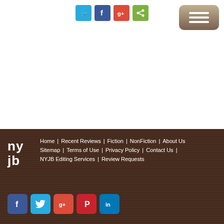[Figure (screenshot): Social sharing icons row (Twitter, Facebook, Google+, Share) centered near top of page]
[Figure (screenshot): Hamburger menu button (three white lines on brown gradient rounded rectangle) top right]
Home | Recent Reviews | Fiction | NonFiction | About Us | Sitemap | Terms of Use | Privacy Policy | Contact Us | NYJB Editing Services | Review Requests
[Figure (logo): NYJB logo in white text on dark brown footer background]
[Figure (screenshot): Footer social icons: Facebook, Twitter, Google+, Pinterest, LinkedIn]